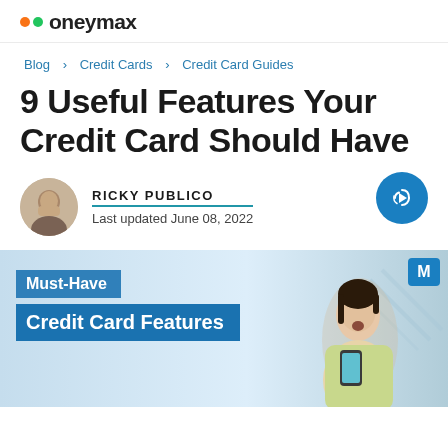moneymax
Blog > Credit Cards > Credit Card Guides
9 Useful Features Your Credit Card Should Have
RICKY PUBLICO
Last updated June 08, 2022
[Figure (illustration): Hero banner image for article about must-have credit card features, showing text 'Must-Have Credit Card Features' over a blue banner with a surprised Asian woman holding a phone on the right side.]